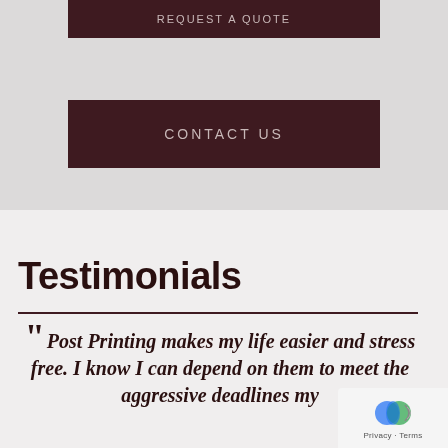REQUEST A QUOTE
CONTACT US
Testimonials
“ Post Printing makes my life easier and stress free. I know I can depend on them to meet the aggressive deadlines my